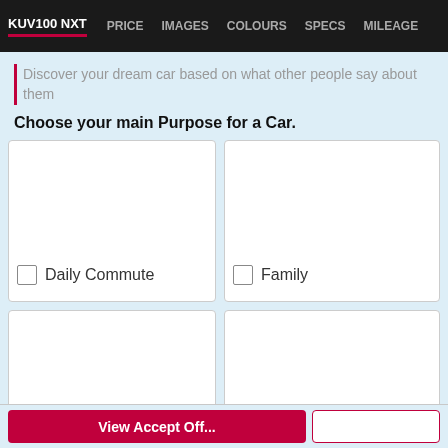KUV100 NXT   PRICE   IMAGES   COLOURS   SPECS   MILEAGE
Discover your dream car based on what other people say about them
Choose your main Purpose for a Car.
Daily Commute
Family
Trips
Occasional
View Accept Off...